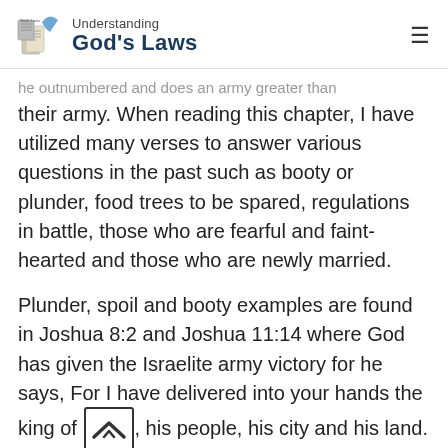Understanding God's Laws
he outnumbered and does an army greater than their army. When reading this chapter, I have utilized many verses to answer various questions in the past such as booty or plunder, food trees to be spared, regulations in battle, those who are fearful and faint-hearted and those who are newly married.
Plunder, spoil and booty examples are found in Joshua 8:2 and Joshua 11:14 where God has given the Israelite army victory for he says, For I have delivered into your hands the king of A, his people, his city and his land.